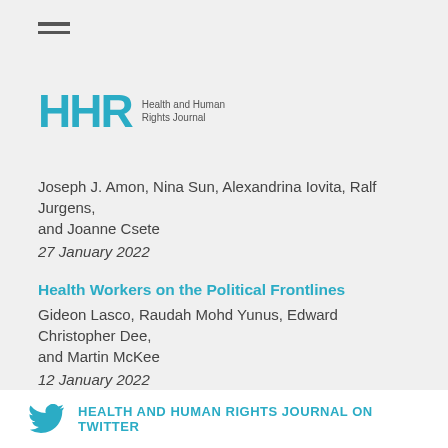[Figure (other): Hamburger menu icon with three horizontal lines]
[Figure (logo): HHR Health and Human Rights Journal logo with teal lettering]
Joseph J. Amon, Nina Sun, Alexandrina Iovita, Ralf Jurgens, and Joanne Csete
27 January 2022
Health Workers on the Political Frontlines
Gideon Lasco, Raudah Mohd Yunus, Edward Christopher Dee, and Martin McKee
12 January 2022
HEALTH AND HUMAN RIGHTS JOURNAL ON TWITTER